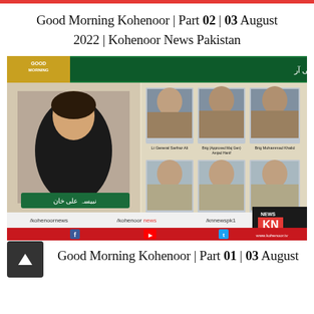Good Morning Kohenoor | Part 02 | 03 August 2022 | Kohenoor News Pakistan
[Figure (screenshot): Kohenoor News TV broadcast screenshot showing a female anchor in black dress with Urdu news ticker. Six military personnel photos displayed on right side with captions. Bottom shows social media handles and KN News logo with website www.kohenoor.tv]
Good Morning Kohenoor | Part 01 | 03 August